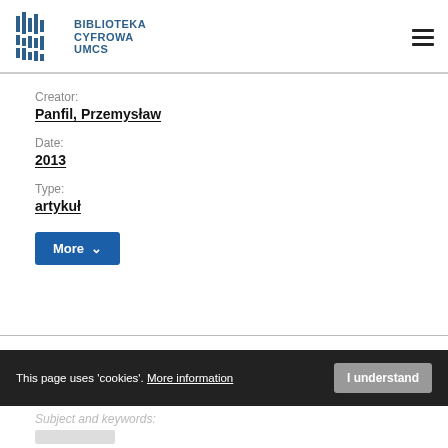[Figure (logo): Biblioteka Cyfrowa UMCS logo with vertical bar graphic and text]
Creator:
Panfil, Przemysław
Date:
2013
Type:
artykuł
More
This page uses 'cookies'. More information
I understand
Subject and keywords: